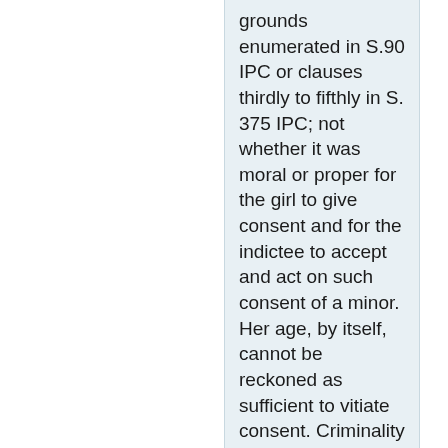grounds enumerated in S.90 IPC or clauses thirdly to fifthly in S. 375 IPC; not whether it was moral or proper for the girl to give consent and for the indictee to accept and act on such consent of a minor. Her age, by itself, cannot be reckoned as sufficient to vitiate consent. Criminality and culpability according to law, and not morality of the consent or that of the indictee, are the